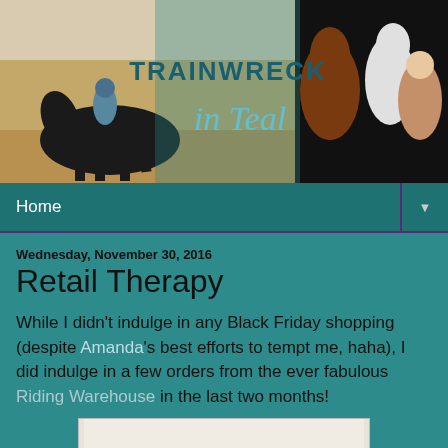[Figure (photo): Blog header banner for 'Trainwreck in Teal' showing a rider on a dark horse in an arena on the left, the blog title in the center, and a brown horse with a woman and white horse on the right]
Home
Wednesday, November 30, 2016
Retail Therapy
While I didn't indulge in any Black Friday shopping (despite Amanda's best efforts to tempt me, haha), I did indulge in a few orders from the ever fabulous Riding Warehouse in the last two months!
[Figure (photo): Partial view of equestrian boots at the bottom of the page]